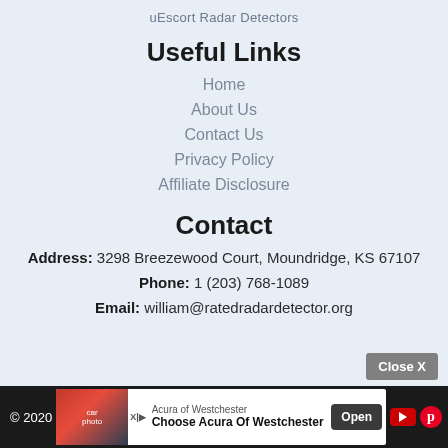uEscort Radar Detectors
Useful Links
Home
About Us
Contact Us
Privacy Policy
Affiliate Disclosure
Contact
Address: 3298 Breezewood Court, Moundridge, KS 67107
Phone: 1 (203) 768-1089
Email: william@ratedradardetector.org
© 2020